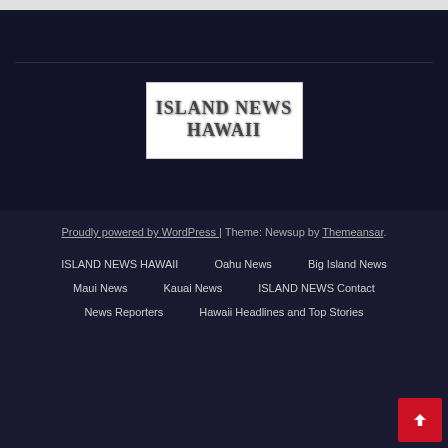[Figure (logo): Island News Hawaii logo — white box with bold serif text reading ISLAND NEWS HAWAII]
Proudly powered by WordPress | Theme: Newsup by Themeansar.
ISLAND NEWS HAWAII
Oahu News
Big Island News
Maui News
Kauai News
ISLAND NEWS Contact
News Reporters
Hawaii Headlines and Top Stories